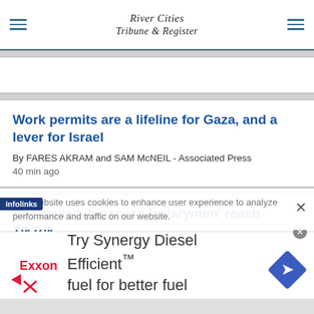River Cities Tribune & Register
Work permits are a lifeline for Gaza, and a lever for Israel
By FARES AKRAM and SAM McNEIL - Associated Press
40 min ago
Pot-bellied Japanese 'salarymen' reach TikTok
This website uses cookies to enhance user experience to analyze performance and traffic on our website.
[Figure (other): Exxon advertisement: Try Synergy Diesel Efficient™ fuel for better fuel economy.*]